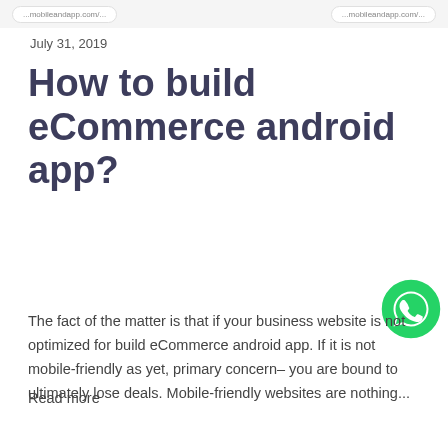...mobileandapp.com/... | ...mobileandapp.com/...
July 31, 2019
How to build eCommerce android app?
[Figure (logo): WhatsApp logo icon — green circle with white phone/chat icon]
The fact of the matter is that if your business website is not optimized for build eCommerce android app. If it is not mobile-friendly as yet, primary concern– you are bound to ultimately lose deals. Mobile-friendly websites are nothing...
Read more